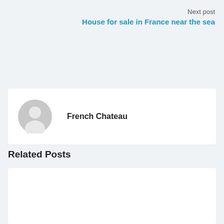Next post
House for sale in France near the sea
French Chateau
Related Posts